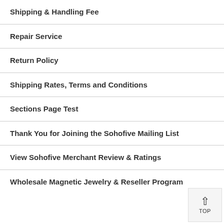Shipping & Handling Fee
Repair Service
Return Policy
Shipping Rates, Terms and Conditions
Sections Page Test
Thank You for Joining the Sohofive Mailing List
View Sohofive Merchant Review & Ratings
Wholesale Magnetic Jewelry & Reseller Program